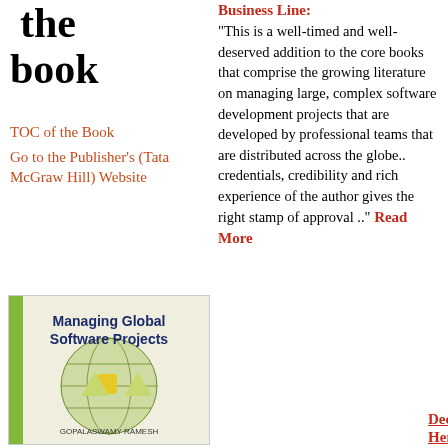the book
TOC of the Book
Go to the Publisher's (Tata McGraw Hill) Website
[Figure (photo): Book cover of 'Managing Global Software Projects' by Gopalaswamy Ramesh, published by Tata McGraw Hill, showing a globe graphic with colored shapes]
Business Line: "This is a well-timed and well-deserved addition to the core books that comprise the growing literature on managing large, complex software development projects that are developed by professional teams that are distributed across the globe.. credentials, credibility and rich experience of the author gives the right stamp of approval .." Read More
Deccan Herald: